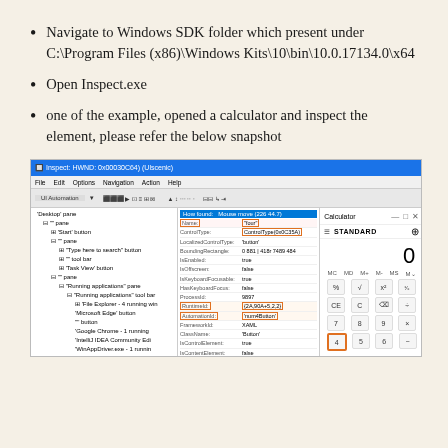Navigate to Windows SDK folder which present under C:\Program Files (x86)\Windows Kits\10\bin\10.0.17134.0\x64
Open Inspect.exe
one of the example, opened a calculator and inspect the element, please refer the below snapshot
[Figure (screenshot): Screenshot of the Inspect tool (inspect.exe) showing a UI Automation tree on the left with a hierarchical list of controls including Desktop pane, Start button, Running applications, Calculator, etc. The middle panel shows properties like Name: 'four', LocalizedControlType: 'button', RuntimeId, AutomationId: 'num4Button' highlighted in orange boxes. On the right is a Windows Calculator app showing STANDARD mode with display showing 0, and number buttons visible including 4 highlighted in orange.]